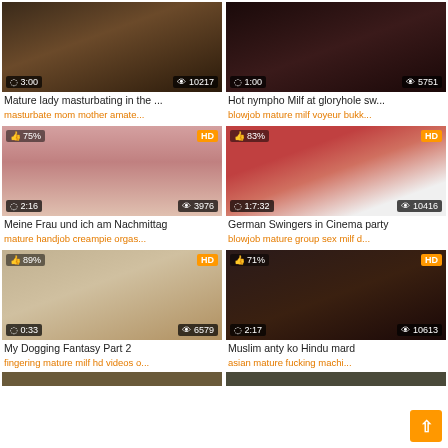[Figure (screenshot): Video thumbnail grid showing 6 adult video thumbnails with titles and tags]
Mature lady masturbating in the ...
masturbate mom mother amate...
Hot nympho Milf at gloryhole sw...
blowjob mature milf voyeur bukk...
Meine Frau und ich am Nachmittag
mature handjob creampie orgas...
German Swingers in Cinema party
blowjob mature group sex milf d...
My Dogging Fantasy Part 2
fingering mature milf hd videos o...
Muslim anty ko Hindu mard
asian mature fucking machi...